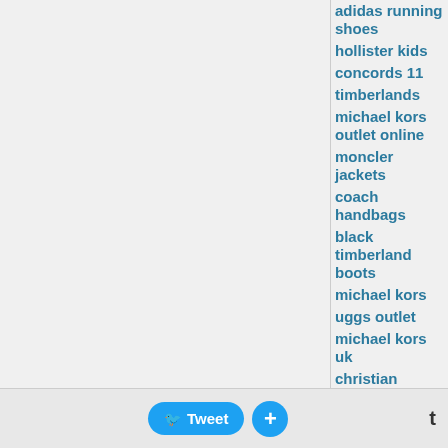adidas running shoes
hollister kids
concords 11
timberlands
michael kors outlet online
moncler jackets
coach handbags
black timberland boots
michael kors
uggs outlet
michael kors uk
christian louboutin sale
louis vuitton
christian louboutin sale
prada shoes
jordan 8
michael kors handbags
coach factory
adidas outlet
michael kors outlet online
coach factory online
ray ban aviator
tods shoes
tory burch shoes
canada goose
mont blanc pen
michael kors outlet online
louis vuitton
louis vuitton online shop
uggs outlet
uggs outlet
coach outlet
fitflops sale
coach factory online